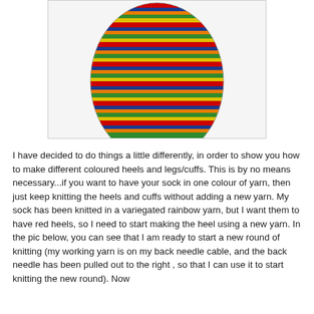[Figure (photo): A knitted sock foot/mitten shape made with variegated rainbow yarn showing horizontal stripes of red, orange, yellow, green, blue colors on a white background.]
I have decided to do things a little differently, in order to show you how to make different coloured heels and legs/cuffs. This is by no means necessary...if you want to have your sock in one colour of yarn, then just keep knitting the heels and cuffs without adding a new yarn. My sock has been knitted in a variegated rainbow yarn, but I want them to have red heels, so I need to start making the heel using a new yarn. In the pic below, you can see that I am ready to start a new round of knitting (my working yarn is on my back needle cable, and the back needle has been pulled out to the right , so that I can use it to start knitting the new round). Now